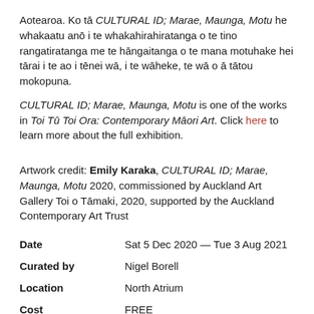Aotearoa. Ko tā CULTURAL ID; Marae, Maunga, Motu he whakaatu anō i te whakahirahiratanga o te tino rangatiratanga me te hāngaitanga o te mana motuhake hei tārai i te ao i tēnei wā, i te wāheke, te wā o ā tātou mokopuna.
CULTURAL ID; Marae, Maunga, Motu is one of the works in Toi Tū Toi Ora: Contemporary Māori Art. Click here to learn more about the full exhibition.
Artwork credit: Emily Karaka, CULTURAL ID; Marae, Maunga, Motu 2020, commissioned by Auckland Art Gallery Toi o Tāmaki, 2020, supported by the Auckland Contemporary Art Trust
|  |  |
| --- | --- |
| Date | Sat 5 Dec 2020 — Tue 3 Aug 2021 |
| Curated by | Nigel Borell |
| Location | North Atrium |
| Cost | FREE |